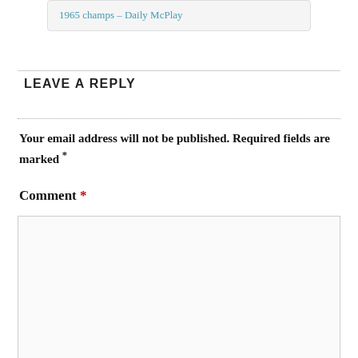1965 champs – Daily McPlay
LEAVE A REPLY
Your email address will not be published. Required fields are marked *
Comment *